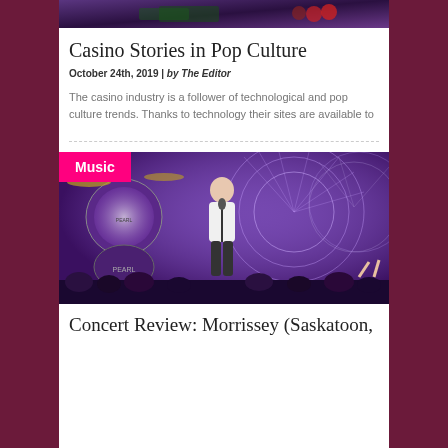[Figure (photo): Top portion of a casino table scene with chips and cards visible]
Casino Stories in Pop Culture
October 24th, 2019 | by The Editor
The casino industry is a follower of technological and pop culture trends. Thanks to technology their sites are available to
[Figure (photo): Concert photo of a singer performing on stage with band, drum kit visible, decorative fan-shaped backdrop, purple stage lighting. Music category badge overlaid.]
Concert Review: Morrissey (Saskatoon,